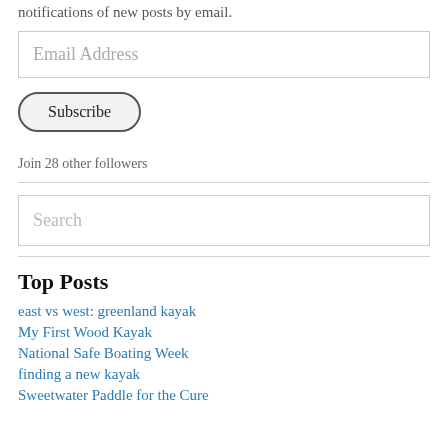notifications of new posts by email.
Email Address
Subscribe
Join 28 other followers
Search
Top Posts
east vs west: greenland kayak
My First Wood Kayak
National Safe Boating Week
finding a new kayak
Sweetwater Paddle for the Cure